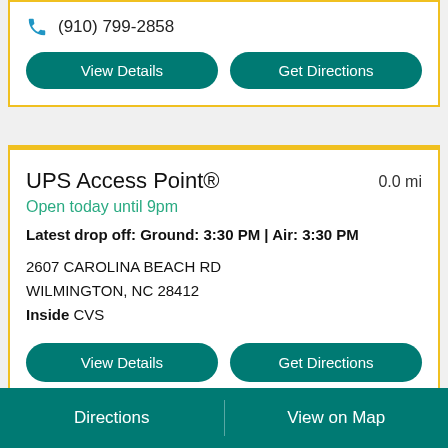(910) 799-2858
View Details
Get Directions
UPS Access Point®
0.0 mi
Open today until 9pm
Latest drop off: Ground: 3:30 PM | Air: 3:30 PM
2607 CAROLINA BEACH RD
WILMINGTON, NC 28412
Inside CVS
View Details
Get Directions
Directions | View on Map